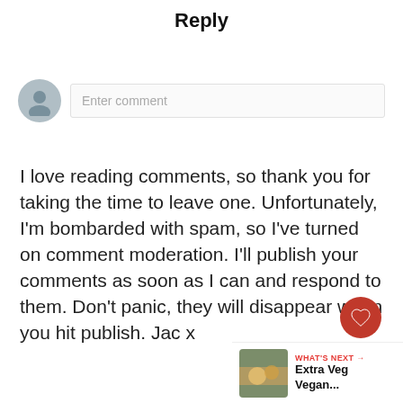Reply
[Figure (other): Comment input row with user avatar circle and 'Enter comment' placeholder text field]
I love reading comments, so thank you for taking the time to leave one. Unfortunately, I'm bombarded with spam, so I've turned on comment moderation. I'll publish your comments as soon as I can and respond to them. Don't panic, they will disappear when you hit publish. Jac x
[Figure (other): Heart/like button (red circle with heart icon) and share button overlay with count badge '24']
[Figure (other): "WHAT'S NEXT →" widget showing food thumbnail image and text 'Extra Veg Vegan...']